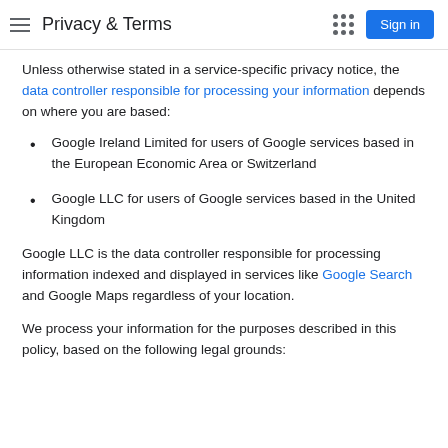Privacy & Terms
Unless otherwise stated in a service-specific privacy notice, the data controller responsible for processing your information depends on where you are based:
Google Ireland Limited for users of Google services based in the European Economic Area or Switzerland
Google LLC for users of Google services based in the United Kingdom
Google LLC is the data controller responsible for processing information indexed and displayed in services like Google Search and Google Maps regardless of your location.
We process your information for the purposes described in this policy, based on the following legal grounds: